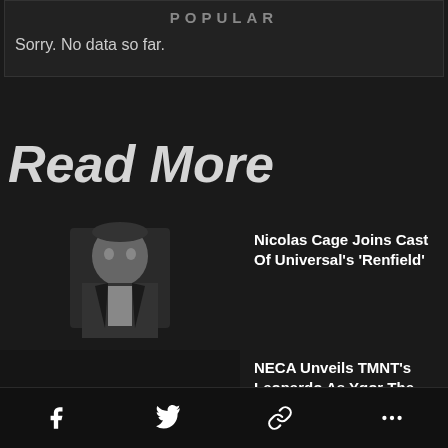POPULAR
Sorry. No data so far.
Read More
[Figure (photo): Black and white photo of a man in formal wear, resembling Dracula costume]
Nicolas Cage Joins Cast Of Universal's 'Renfield'
[Figure (photo): Dark/black placeholder thumbnail image]
NECA Unveils TMNT's Leonardo As Ygor The Hunchback
[Figure (photo): Dark/black placeholder thumbnail image]
NECA Announces New TMNT / Universal